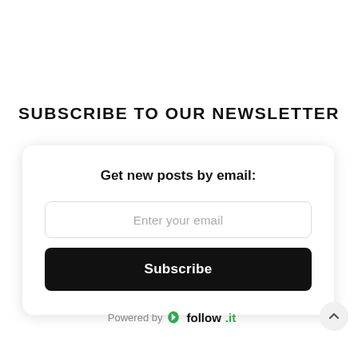SUBSCRIBE TO OUR NEWSLETTER
Get new posts by email:
Enter your email
Subscribe
Powered by follow.it